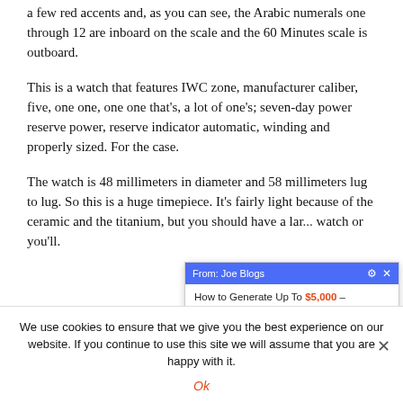a few red accents and, as you can see, the Arabic numerals one through 12 are inboard on the scale and the 60 Minutes scale is outboard.
This is a watch that features IWC zone, manufacturer caliber, five, one one, one one that's, a lot of one's; seven-day power reserve power, reserve indicator automatic, winding and properly sized. For the case.
The watch is 48 millimeters in diameter and 58 millimeters lug to lug. So this is a huge timepiece. It's fairly light because of the ceramic and the titanium, but you should have a lar... watch or you'll.
[Figure (screenshot): A popup notification from 'Joe Blogs' with blue header bar showing title 'From: Joe Blogs' with gear and close icons, and body text 'How to Generate Up To $5,000 –']
We use cookies to ensure that we give you the best experience on our website. If you continue to use this site we will assume that you are happy with it.
Ok